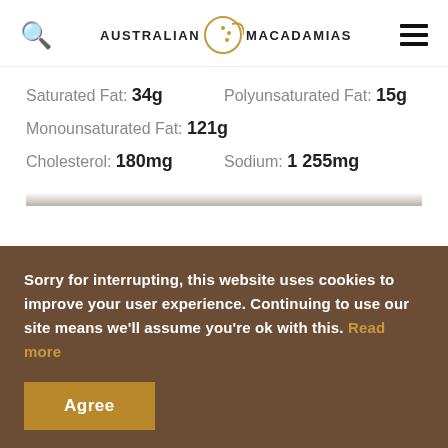Australian Macadamias
Saturated Fat: 34g   Polyunsaturated Fat: 15g
Monounsaturated Fat: 121g
Cholesterol: 180mg   Sodium: 1 255mg
Sorry for interrupting, this website uses cookies to improve your user experience. Continuing to use our site means we'll assume you're ok with this. Read more
Agree